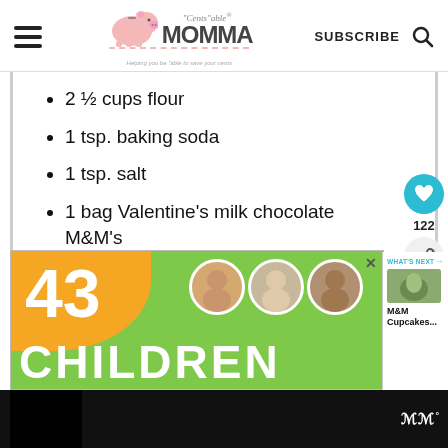"Cents"able MOMMA — SUBSCRIBE
2 ½ cups flour
1 tsp. baking soda
1 tsp. salt
1 bag Valentine's milk chocolate M&M's
[Figure (other): Advertisement banner showing '43 CHILDREN' text with children's photos, green and orange background]
WHAT'S NEXT → M&M Cupcakes...
122